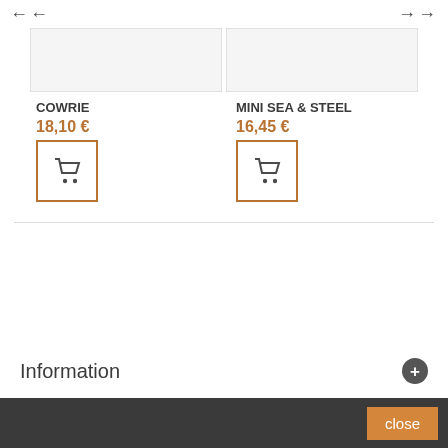[Figure (screenshot): Navigation arrows (left) at top left of page]
[Figure (screenshot): Navigation arrows (right) at top right of page]
COWRIE
18,10 €
[Figure (illustration): Shopping cart icon button with brown border]
MINI SEA & STEEL
16,45 €
[Figure (illustration): Shopping cart icon button with brown border]
Information
close